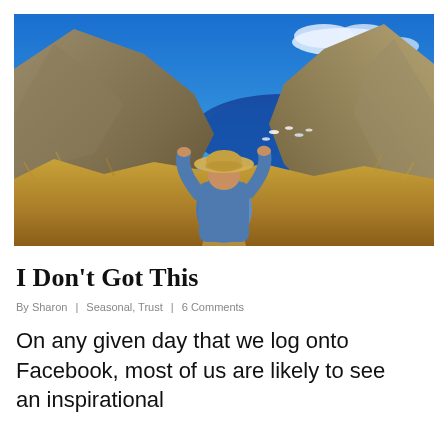[Figure (photo): A woman seen from behind wearing a blue denim jacket and a straw hat, standing on a hillside path overlooking a Mediterranean cove with deep blue water, rocky cliffs on either side, golden dry grass, and a partly cloudy blue sky. Small white boats are visible in the cove below.]
I Don’t Got This
By Sharon | Seasonal, Trust | 6 Comments
On any given day that we log onto Facebook, most of us are likely to see an inspirational